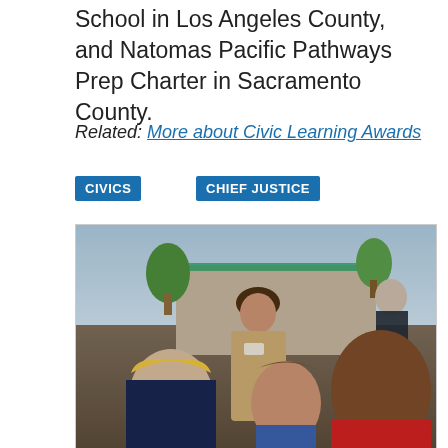School in Los Angeles County, and Natomas Pacific Pathways Prep Charter in Sacramento County.
Related: More about Civic Learning Awards
CIVICS
CHIEF JUSTICE
[Figure (photo): A woman in a beige jacket speaking with three children outdoors near a school building. A person in dark clothing stands in the background on the right.]